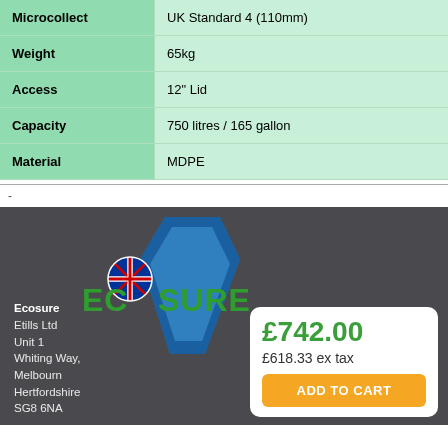| Attribute | Value |
| --- | --- |
| Microcollect | UK Standard 4 (110mm) |
| Weight | 65kg |
| Access | 12" Lid |
| Capacity | 750 litres / 165 gallon |
| Material | MDPE |
-
[Figure (logo): Ecosure logo with UK flag globe, blue chevron/arrow behind, green bold text ECOSURE]
Ecosure
Etills Ltd
Unit 1
Whiting Way,
Melbourn
Hertfordshire
SG8 6NA
£742.00
£618.33 ex tax
ADD TO CART